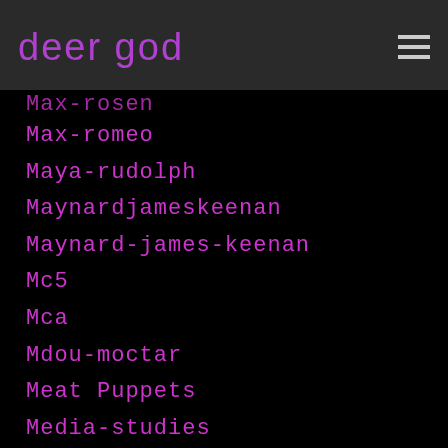deer god
Max-romeo
Maya-rudolph
Maynardjameskeenan
Maynard-james-keenan
Mc5
Mca
Mdou-moctar
Meat Puppets
Media-studies
Megadeth
Melanie Brown
Melanie Chisholm
Mel Brooks
Melissa Auf Der Maur
Mellowdrone
Mellowhype